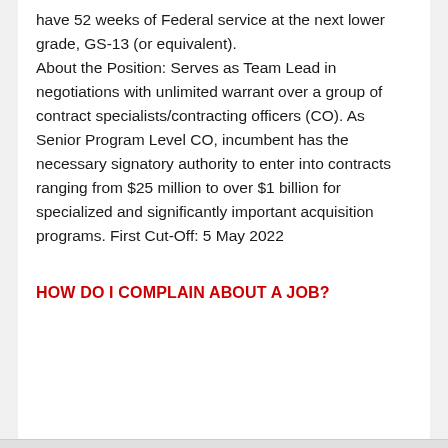have 52 weeks of Federal service at the next lower grade, GS-13 (or equivalent). About the Position: Serves as Team Lead in negotiations with unlimited warrant over a group of contract specialists/contracting officers (CO). As Senior Program Level CO, incumbent has the necessary signatory authority to enter into contracts ranging from $25 million to over $1 billion for specialized and significantly important acquisition programs. First Cut-Off: 5 May 2022
HOW DO I COMPLAIN ABOUT A JOB?